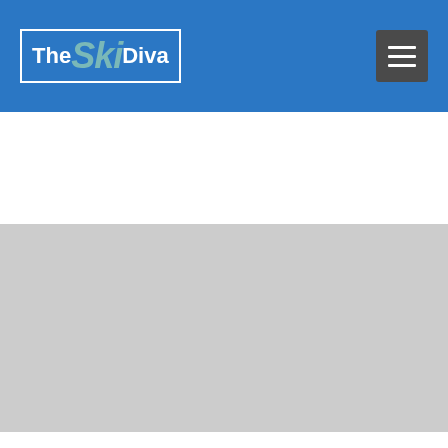The Ski Diva
[Figure (other): Gray advertisement placeholder area]
WHY YOU CAN'T ORDER A COPY OF DOUBLE BLACK ON AMAZON. AND WHERE YOU CAN GET ONE